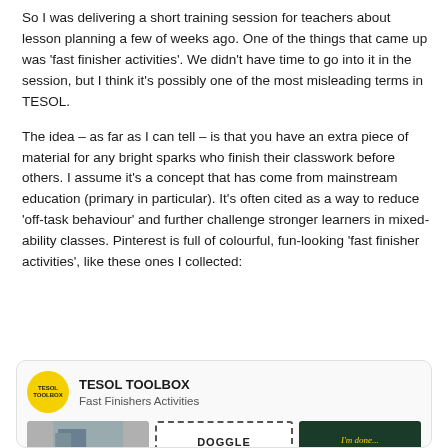So I was delivering a short training session for teachers about lesson planning a few of weeks ago. One of the things that came up was 'fast finisher activities'. We didn't have time to go into it in the session, but I think it's possibly one of the most misleading terms in TESOL.
The idea – as far as I can tell – is that you have an extra piece of material for any bright sparks who finish their classwork before others. I assume it's a concept that has come from mainstream education (primary in particular). It's often cited as a way to reduce 'off-task behaviour' and further challenge stronger learners in mixed-ability classes. Pinterest is full of colourful, fun-looking 'fast finisher activities', like these ones I collected:
[Figure (other): A social media share card for 'TESOL TOOLBOX – Fast Finishers Activities' with a yellow circular logo, bold title text, subtitle, and three thumbnail images at the bottom including a classroom photo, a DOGGLE puzzle image with dotted border, and a dark chalkboard reading 'I'm done...']